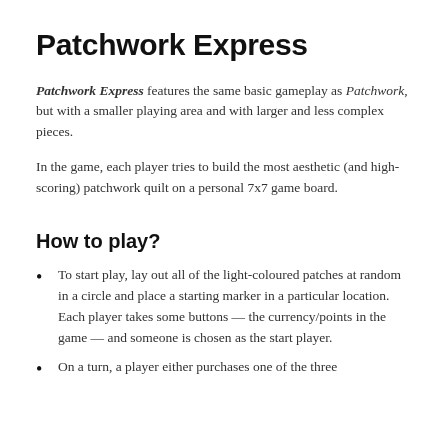Patchwork Express
Patchwork Express features the same basic gameplay as Patchwork, but with a smaller playing area and with larger and less complex pieces.
In the game, each player tries to build the most aesthetic (and high-scoring) patchwork quilt on a personal 7x7 game board.
How to play?
To start play, lay out all of the light-coloured patches at random in a circle and place a starting marker in a particular location. Each player takes some buttons — the currency/points in the game — and someone is chosen as the start player.
On a turn, a player either purchases one of the three